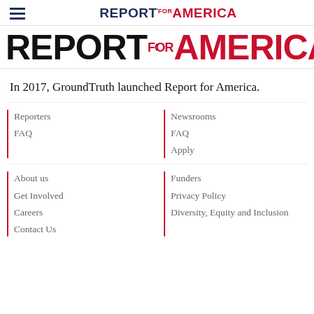REPORT FOR AMERICA
[Figure (logo): Large Report for America logo in black and red on white background]
In 2017, GroundTruth launched Report for America.
Reporters
FAQ
Newsrooms
FAQ
Apply
About us
Get Involved
Careers
Contact Us
Funders
Privacy Policy
Diversity, Equity and Inclusion